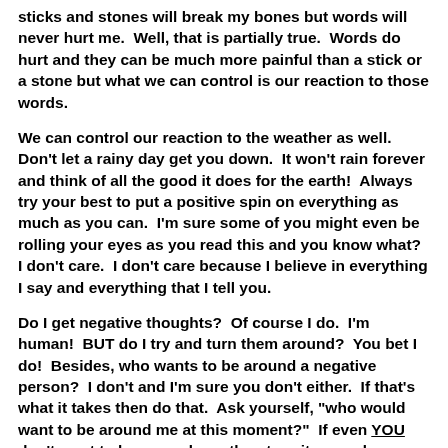sticks and stones will break my bones but words will never hurt me.  Well, that is partially true.  Words do hurt and they can be much more painful than a stick or a stone but what we can control is our reaction to those words.
We can control our reaction to the weather as well.  Don't let a rainy day get you down.  It won't rain forever and think of all the good it does for the earth!  Always try your best to put a positive spin on everything as much as you can.  I'm sure some of you might even be rolling your eyes as you read this and you know what?  I don't care.  I don't care because I believe in everything I say and everything that I tell you.
Do I get negative thoughts?  Of course I do.  I'm human!  BUT do I try and turn them around?  You bet I do!  Besides, who wants to be around a negative person?  I don't and I'm sure you don't either.  If that's what it takes then do that.  Ask yourself, "who would want to be around me at this moment?"  If even YOU don't want to be around you then turn it around.